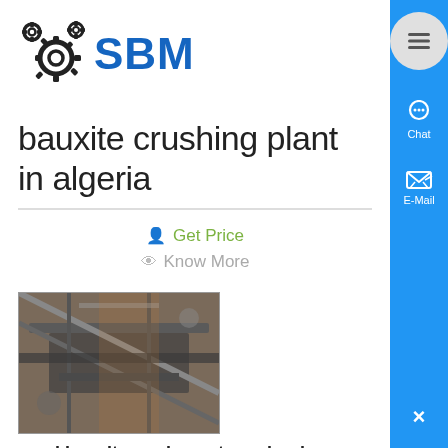[Figure (logo): SBM logo with gear icons and blue SBM text]
bauxite crushing plant in algeria
Get Price
Know More
[Figure (photo): Industrial bauxite ore impact crusher machine in a factory/plant setting]
used bauxite ore impact crusher in central africa
bauxite hammer crusher for stone paula-rilke-